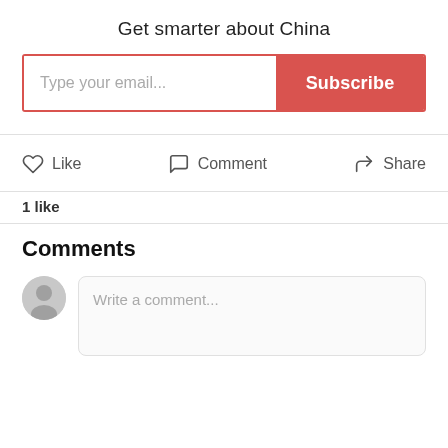Get smarter about China
[Figure (screenshot): Email subscription form with 'Type your email...' placeholder text on the left and a red 'Subscribe' button on the right]
[Figure (infographic): Social action row with Like (heart icon), Comment (speech bubble icon), and Share (arrow icon) buttons]
1 like
Comments
[Figure (screenshot): Comment input area with a circular avatar placeholder on the left and a rounded text box with 'Write a comment...' placeholder on the right]